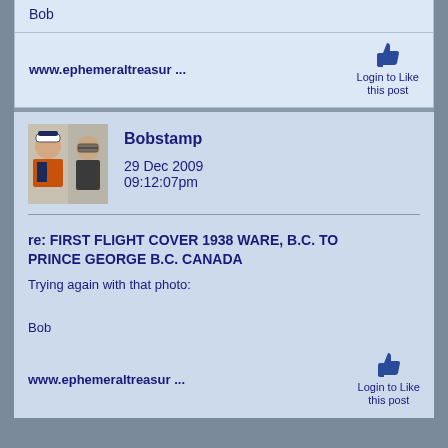Bob
www.ephemeraltreasur ...
Login to Like this post
Bobstamp
29 Dec 2009
09:12:07pm
re: FIRST FLIGHT COVER 1938 WARE, B.C. TO PRINCE GEORGE B.C. CANADA
Trying again with that photo:
Bob
www.ephemeraltreasur ...
Login to Like this post